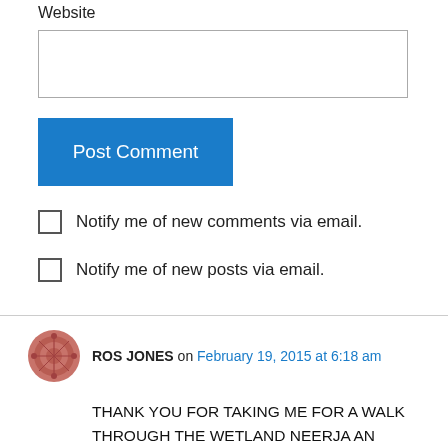Website
Post Comment
Notify me of new comments via email.
Notify me of new posts via email.
ROS JONES on February 19, 2015 at 6:18 am
THANK YOU FOR TAKING ME FOR A WALK THROUGH THE WETLAND NEERJA AN ENJOYABLE SMALL JOURNEY. I HAVE ONE NEAR WHERE I LIVE AND ENJOY THE EGRETS AND OCCASIONAL BROLGAS, WHO